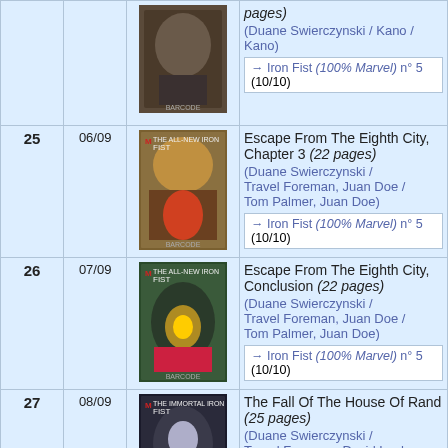| # | Date | Cover | Info |
| --- | --- | --- | --- |
|  |  |
| 25 | 06/09 | [cover] | Escape From The Eighth City, Chapter 3 (22 pages)
(Duane Swierczynski / Travel Foreman, Juan Doe / Tom Palmer, Juan Doe)
→ Iron Fist (100% Marvel) n° 5 (10/10) |
| 26 | 07/09 | [cover] | Escape From The Eighth City, Conclusion (22 pages)
(Duane Swierczynski / Travel Foreman, Juan Doe / Tom Palmer, Juan Doe)
→ Iron Fist (100% Marvel) n° 5 (10/10) |
| 27 | 08/09 | [cover] | The Fall Of The House Of Rand (25 pages)
(Duane Swierczynski / Travel Foreman, David Lapham, Timothy Green / Travel Foreman) |